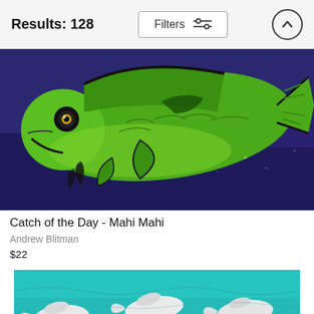Results: 128
Filters
[Figure (photo): Painting of a green Mahi Mahi fish against a dark blue/purple background. The fish is depicted in bright lime green with black outlines, showing its eye with a yellow ring, fins, and tail. The background is a deep navy/purple suggesting water.]
Catch of the Day - Mahi Mahi
Andrew Blitman
$22
[Figure (photo): Painting partially visible showing white fish or aquatic creatures against a turquoise/teal blue water background, with a dark black shape at the bottom.]